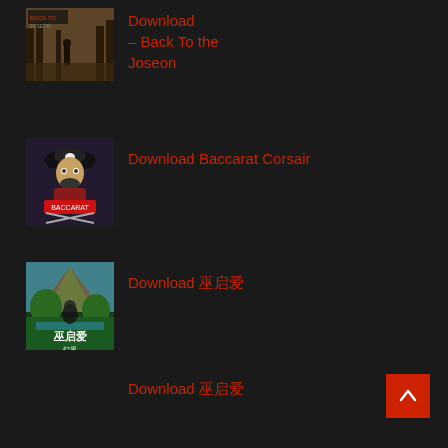[Figure (screenshot): Game thumbnail for Back To the Joseon - sepia-toned forest scene with figure]
Download – Back To the Joseon
[Figure (screenshot): Game thumbnail for Baccarat Corsair - pirate character with crossed swords]
Download Baccarat Corsair
[Figure (screenshot): Game thumbnail with forest/nature scene and Japanese/Chinese characters]
Download 巫启爱
Download 巫启爱